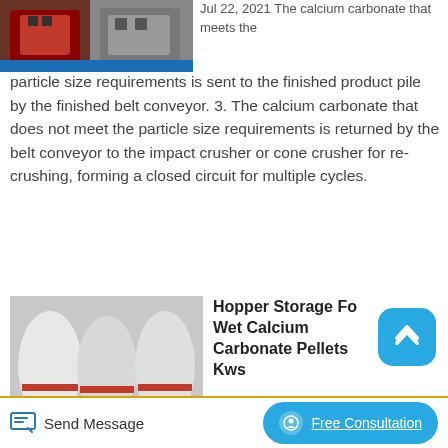[Figure (photo): Industrial crusher/grinding machine with red housing on blue base]
Jul 22, 2021 The calcium carbonate that meets the particle size requirements is sent to the finished product pile by the finished belt conveyor. 3. The calcium carbonate that does not meet the particle size requirements is returned by the belt conveyor to the impact crusher or cone crusher for re-crushing, forming a closed circuit for multiple cycles.
[Figure (photo): White industrial hopper/storage tanks/grinding mills on blue pallets in a factory]
Hopper Storage For Wet Calcium Carbonate Pellets Kws
The municipal authority needed expansion and storage for wet calcium carbonate pellets used to raise the pH level of water for
Send Message   Free Consultation